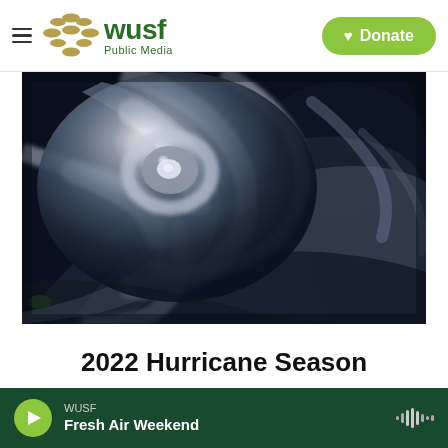WUSF Public Media — Donate
[Figure (photo): Satellite aerial view of a hurricane eye and spiral cloud bands from space, black and white tones with dark ocean background]
2022 Hurricane Season
What you need to know to prepare and stay informed during a storm.
WUSF — Fresh Air Weekend (audio player bar)